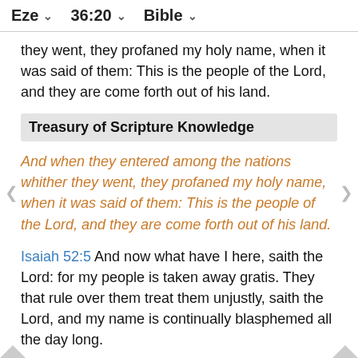Eze  36:20  Bible
they went, they profaned my holy name, when it was said of them: This is the people of the Lord, and they are come forth out of his land.
Treasury of Scripture Knowledge
And when they entered among the nations whither they went, they profaned my holy name, when it was said of them: This is the people of the Lord, and they are come forth out of his land.
Isaiah 52:5 And now what have I here, saith the Lord: for my people is taken away gratis. They that rule over them treat them unjustly, saith the Lord, and my name is continually blasphemed all the day long.
Romans 2:24 (For the name of God through you is